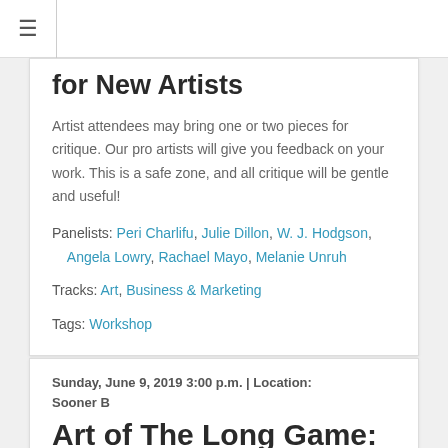≡
for New Artists
Artist attendees may bring one or two pieces for critique. Our pro artists will give you feedback on your work. This is a safe zone, and all critique will be gentle and useful!
Panelists: Peri Charlifu, Julie Dillon, W. J. Hodgson, Angela Lowry, Rachael Mayo, Melanie Unruh
Tracks: Art, Business & Marketing
Tags: Workshop
Sunday, June 9, 2019 3:00 p.m. | Location: Sooner B
Art of The Long Game: